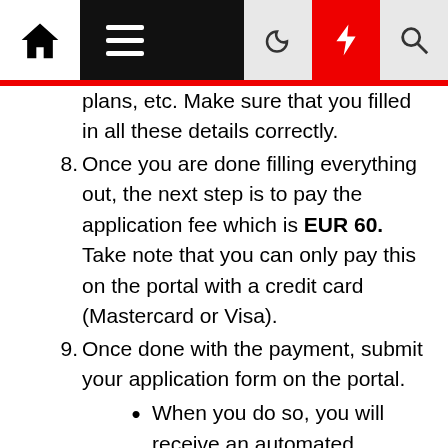Navigation bar with home, menu, moon, bolt, and search icons
plans, etc. Make sure that you filled in all these details correctly.
8. Once you are done filling everything out, the next step is to pay the application fee which is EUR 60. Take note that you can only pay this on the portal with a credit card (Mastercard or Visa).
9. Once done with the payment, submit your application form on the portal.
When you do so, you will receive an automated message on your mail that contains a Cover Letter. Save, print, and sign this document since you will need to submit it later on when you visit VFS.
10. Finally, click here to book your